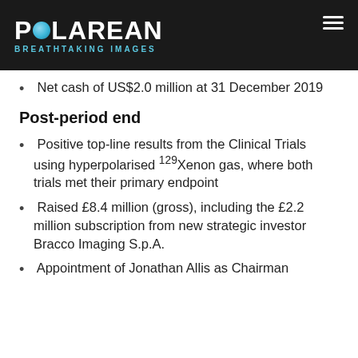POLAREAN BREATHTAKING IMAGES
Net cash of US$2.0 million at 31 December 2019
Post-period end
Positive top-line results from the Clinical Trials using hyperpolarised 129Xenon gas, where both trials met their primary endpoint
Raised £8.4 million (gross), including the £2.2 million subscription from new strategic investor Bracco Imaging S.p.A.
Appointment of Jonathan Allis as Chairman